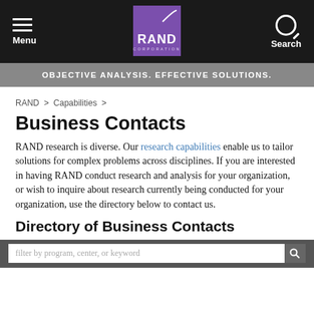Menu | RAND Corporation | Search
OBJECTIVE ANALYSIS. EFFECTIVE SOLUTIONS.
RAND > Capabilities >
Business Contacts
RAND research is diverse. Our research capabilities enable us to tailor solutions for complex problems across disciplines. If you are interested in having RAND conduct research and analysis for your organization, or wish to inquire about research currently being conducted for your organization, use the directory below to contact us.
Directory of Business Contacts
filter by program, center, or keyword